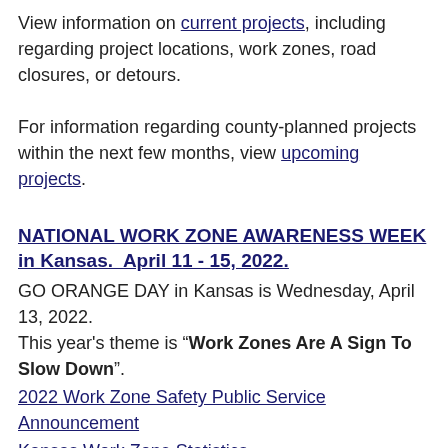View information on current projects, including regarding project locations, work zones, road closures, or detours.
For information regarding county-planned projects within the next few months, view upcoming projects.
NATIONAL WORK ZONE AWARENESS WEEK in Kansas.  April 11 - 15, 2022.
GO ORANGE DAY in Kansas is Wednesday, April 13, 2022.
This year's theme is "Work Zones Are A Sign To Slow Down".
2022 Work Zone Safety Public Service Announcement
Kansas Work Zone Statistics
Drive Safe. A reminder that work zones need